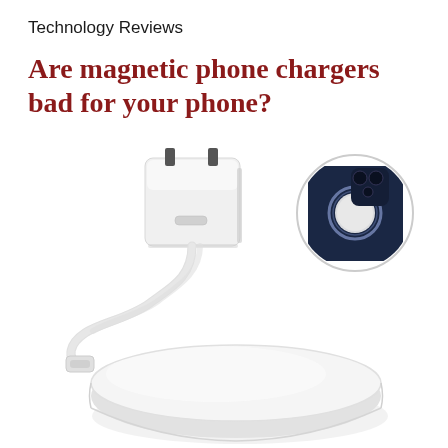Technology Reviews
Are magnetic phone chargers bad for your phone?
[Figure (photo): A white MagSafe magnetic wireless charger puck with USB-C cable and USB-C power adapter on a white background, plus a circular inset showing the back of a navy blue iPhone with a MagSafe charger attached]